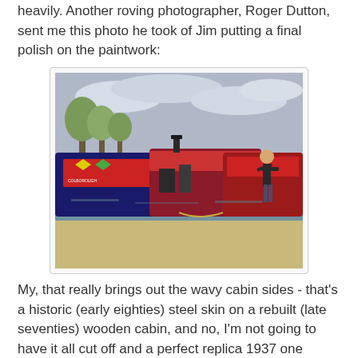heavily. Another roving photographer, Roger Dutton, sent me this photo he took of Jim putting a final polish on the paintwork:
[Figure (photo): Photograph of a man (Jim) polishing the paintwork on a colourful narrowboat moored at a canal wharf. Several decorated narrowboats are visible, with trees and a cloudy sky in the background.]
My, that really brings out the wavy cabin sides - that's a historic (early eighties) steel skin on a rebuilt (late seventies) wooden cabin, and no, I'm not going to have it all cut off and a perfect replica 1937 one made in solid steel!
On the other side of the canal from the road, Tesco's and the high street were the extensive woods and common land. We took Ricky for a walk there and were immensely impressed with it. And we were amazed, on our return at dusk, to meet at least half a dozen red deer: